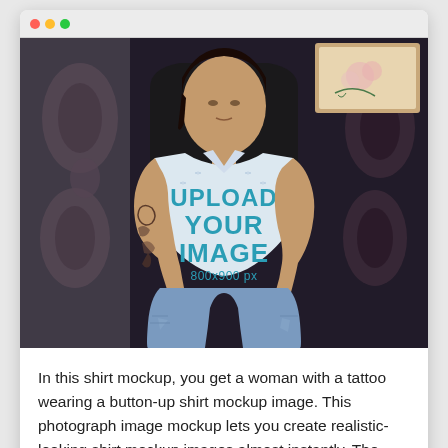[Figure (screenshot): Screenshot of a browser window showing a woman with tattoos sitting in a chair wearing a white button-up shirt mockup with 'UPLOAD YOUR IMAGE 800x900 px' overlay text in teal. The background shows a dark patterned wall.]
In this shirt mockup, you get a woman with a tattoo wearing a button-up shirt mockup image. This photograph image mockup lets you create realistic-looking shirt mockup images almost instantly. The smart algorithm of this mockup generator makes your design fit perfectly in the scene. You can change the shirt colors, but the